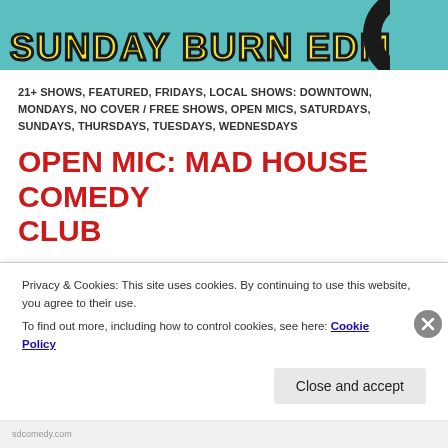[Figure (illustration): Colorful illustrated banner with teal/turquoise background, showing partial text in cartoon bubble letters style reading 'SUNDAY BURN EDMONDSON' and black curved shapes on right side]
21+ SHOWS, FEATURED, FRIDAYS, LOCAL SHOWS: DOWNTOWN, MONDAYS, NO COVER / FREE SHOWS, OPEN MICS, SATURDAYS, SUNDAYS, THURSDAYS, TUESDAYS, WEDNESDAYS
OPEN MIC: MAD HOUSE COMEDY CLUB
Thinking about trying stand up comedy? Ready to take the leap? We're proud to have a supportive staff and an awesome group of comics performing on our open mic, so relax, grab some friends and come have a great time. Read below for sign up instructions.   If you're not ready
Privacy & Cookies: This site uses cookies. By continuing to use this website, you agree to their use.
To find out more, including how to control cookies, see here: Cookie Policy
Close and accept